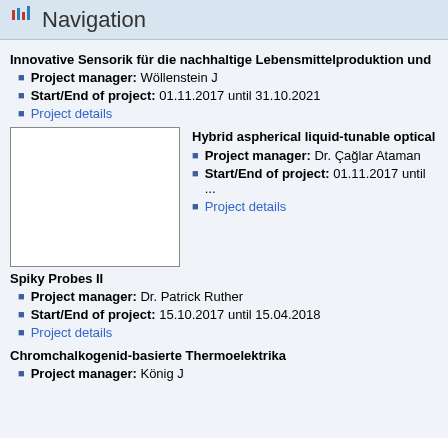Navigation
Innovative Sensorik für die nachhaltige Lebensmittelproduktion und...
Project manager: Wöllenstein J
Start/End of project: 01.11.2017 until 31.10.2021
Project details
[Figure (photo): White/blank image placeholder for Hybrid aspherical liquid-tunable optical project]
Hybrid aspherical liquid-tunable optical...
Project manager: Dr. Çağlar Ataman
Start/End of project: 01.11.2017 until ...
Project details
Spiky Probes II
Project manager: Dr. Patrick Ruther
Start/End of project: 15.10.2017 until 15.04.2018
Project details
Chromchalkogenid-basierte Thermoelektrika
Project manager: König J